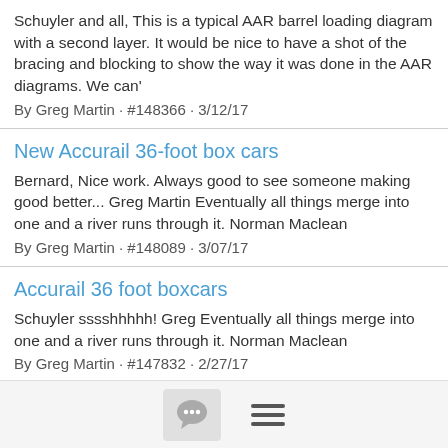Schuyler and all, This is a typical AAR barrel loading diagram with a second layer. It would be nice to have a shot of the bracing and blocking to show the way it was done in the AAR diagrams. We can'
By Greg Martin · #148366 · 3/12/17
New Accurail 36-foot box cars
Bernard, Nice work. Always good to see someone making good better... Greg Martin Eventually all things merge into one and a river runs through it. Norman Maclean
By Greg Martin · #148089 · 3/07/17
Accurail 36 foot boxcars
Schuyler sssshhhhh! Greg Eventually all things merge into one and a river runs through it. Norman Maclean
By Greg Martin · #147832 · 2/27/17
steamerafreightcars.com - Updated 1932 ARA, 1937 AAR, Modified 19...
[Figure (other): Footer navigation bar with chat icon button and hamburger menu icon]